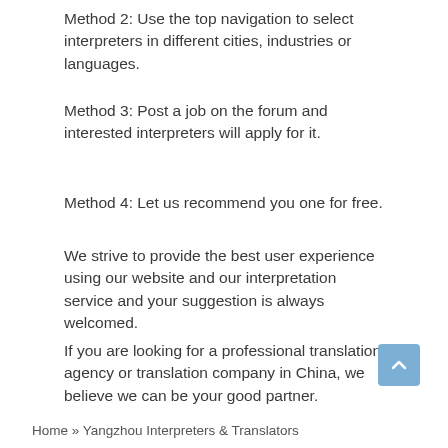Method 2: Use the top navigation to select interpreters in different cities, industries or languages.
Method 3: Post a job on the forum and interested interpreters will apply for it.
Method 4: Let us recommend you one for free.
We strive to provide the best user experience using our website and our interpretation service and your suggestion is always welcomed.
If you are looking for a professional translation agency or translation company in China, we believe we can be your good partner.
Home » Yangzhou Interpreters & Translators